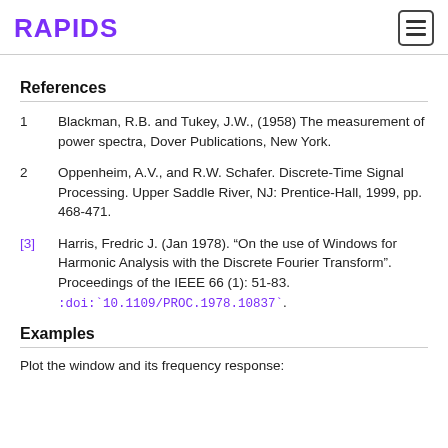RAPIDS
References
1   Blackman, R.B. and Tukey, J.W., (1958) The measurement of power spectra, Dover Publications, New York.
2   Oppenheim, A.V., and R.W. Schafer. Discrete-Time Signal Processing. Upper Saddle River, NJ: Prentice-Hall, 1999, pp. 468-471.
[3]   Harris, Fredric J. (Jan 1978). “On the use of Windows for Harmonic Analysis with the Discrete Fourier Transform". Proceedings of the IEEE 66 (1): 51-83. :doi:`10.1109/PROC.1978.10837`.
Examples
Plot the window and its frequency response: